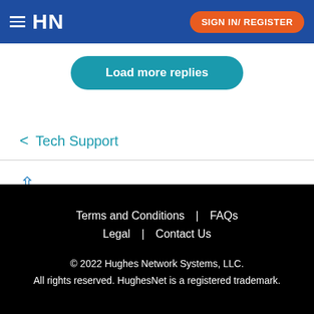HN | SIGN IN/ REGISTER
Load more replies
< Tech Support
↑
Terms and Conditions | FAQs | Legal | Contact Us
© 2022 Hughes Network Systems, LLC.
All rights reserved. HughesNet is a registered trademark.